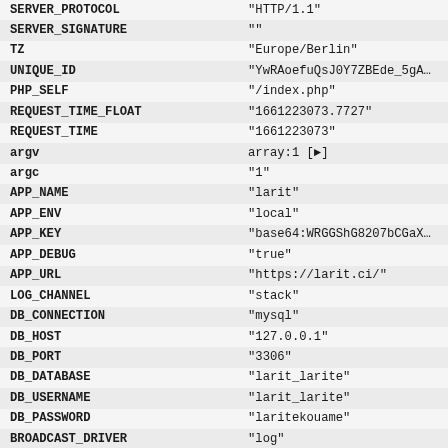| Key | Value |
| --- | --- |
| SERVER_PROTOCOL | "HTTP/1.1" |
| SERVER_SIGNATURE | "" |
| TZ | "Europe/Berlin" |
| UNIQUE_ID | "YwRAoefuQsJ0Y7ZBEde_5gA… |
| PHP_SELF | "/index.php" |
| REQUEST_TIME_FLOAT | "1661223073.7727" |
| REQUEST_TIME | "1661223073" |
| argv | array:1 [▶] |
| argc | "1" |
| APP_NAME | "larit" |
| APP_ENV | "local" |
| APP_KEY | "base64:WRGGShG8207bCGaX… |
| APP_DEBUG | "true" |
| APP_URL | "https://larit.ci/" |
| LOG_CHANNEL | "stack" |
| DB_CONNECTION | "mysql" |
| DB_HOST | "127.0.0.1" |
| DB_PORT | "3306" |
| DB_DATABASE | "larit_larite" |
| DB_USERNAME | "larit_larite" |
| DB_PASSWORD | "laritekouame" |
| BROADCAST_DRIVER | "log" |
| CACHE_DRIVER | "file" |
| QUEUE_CONNECTION | "sync" |
| SESSION_DRIVER | "file" |
| SESSION_LIFETIME | "120" |
| REDIS_HOST | "127.0.0.1" |
| REDIS_PASSWORD | "null" |
| REDIS_PORT | "6379" |
| MAIL_DRIVER | "smtp" |